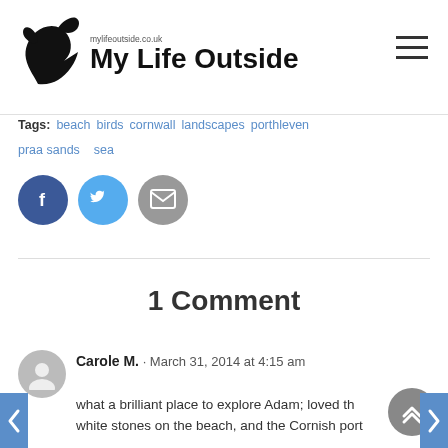My Life Outside - mylifeoutside.co.uk
Tags: beach birds cornwall landscapes porthleven praa sands sea
[Figure (other): Social share buttons: Facebook (blue circle), Twitter (light blue circle), Email (grey circle)]
1 Comment
Carole M. · March 31, 2014 at 4:15 am
what a brilliant place to explore Adam; loved the white stones on the beach, and the Cornish port